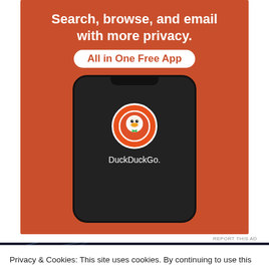[Figure (advertisement): DuckDuckGo advertisement on orange background. Text: 'Search, browse, and email with more privacy. All in One Free App'. Shows a smartphone with the DuckDuckGo duck logo app icon and the text 'DuckDuckGo.' on screen.]
REPORT THIS AD
3 Comments
Privacy & Cookies: This site uses cookies. By continuing to use this website, you agree to their use.
To find out more, including how to control cookies, see here: Cookie Policy
Close and accept